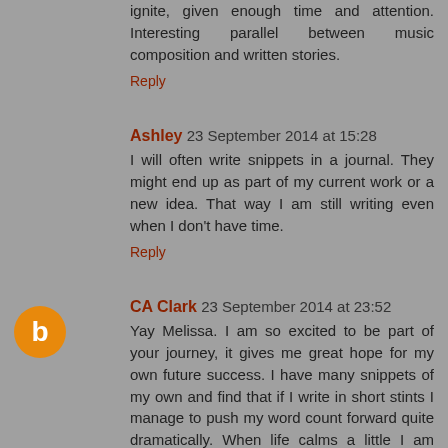ignite, given enough time and attention. Interesting parallel between music composition and written stories.
Reply
Ashley 23 September 2014 at 15:28
I will often write snippets in a journal. They might end up as part of my current work or a new idea. That way I am still writing even when I don't have time.
Reply
CA Clark 23 September 2014 at 23:52
Yay Melissa. I am so excited to be part of your journey, it gives me great hope for my own future success. I have many snippets of my own and find that if I write in short stints I manage to push my word count forward quite dramatically. When life calms a little I am hoping to turn more of my snippets into whole stories. Good fortune to you with the launch.